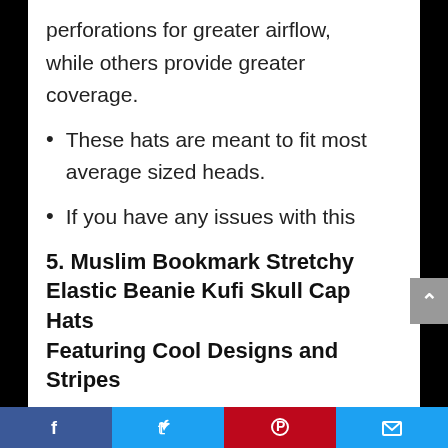perforations for greater airflow, while others provide greater coverage.
These hats are meant to fit most average sized heads.
If you have any issues with this product, please contact the seller to have your issue resolved immediately.
5. Muslim Bookmark Stretchy Elastic Beanie Kufi Skull Cap Hats Featuring Cool Designs and Stripes